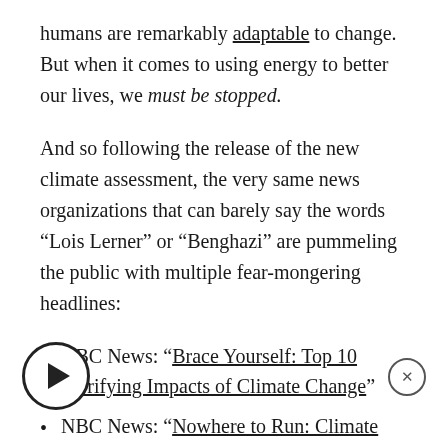humans are remarkably adaptable to change. But when it comes to using energy to better our lives, we must be stopped.
And so following the release of the new climate assessment, the very same news organizations that can barely say the words “Lois Lerner” or “Benghazi” are pummeling the public with multiple fear-mongering headlines:
ABC News: “Brace Yourself: Top 10 Terrifying Impacts of Climate Change”
NBC News: “Nowhere to Run: Climate Change Will Affect Every Region of U.S.”
NBC News: “Climate Change Catastrophes Ahead? Here’s How We Can Prepare”